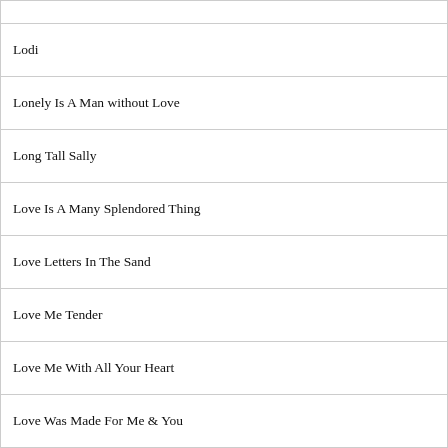|  |
| Lodi |
| Lonely Is A Man without Love |
| Long Tall Sally |
| Love Is A Many Splendored Thing |
| Love Letters In The Sand |
| Love Me Tender |
| Love Me With All Your Heart |
| Love Was Made For Me & You |
| Loving You |
| Luck Lips |
| Lying Eyes |
|  |